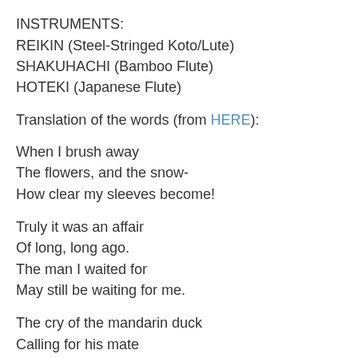INSTRUMENTS:
REIKIN (Steel-Stringed Koto/Lute)
SHAKUHACHI (Bamboo Flute)
HOTEKI (Japanese Flute)
Translation of the words (from HERE):
When I brush away
The flowers, and the snow-
How clear my sleeves become!
Truly it was an affair
Of long, long ago.
The man I waited for
May still be waiting for me.
The cry of the mandarin duck
Calling for his mate